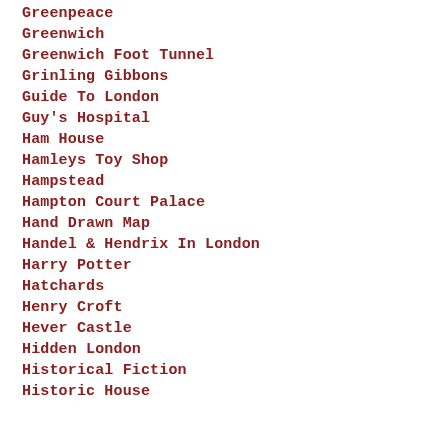Greenpeace
Greenwich
Greenwich Foot Tunnel
Grinling Gibbons
Guide To London
Guy's Hospital
Ham House
Hamleys Toy Shop
Hampstead
Hampton Court Palace
Hand Drawn Map
Handel & Hendrix In London
Harry Potter
Hatchards
Henry Croft
Hever Castle
Hidden London
Historical Fiction
Historic House